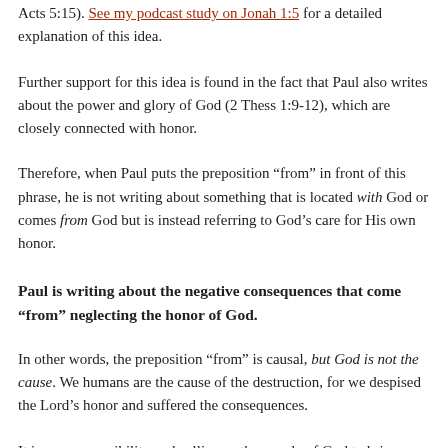Acts 5:15). See my podcast study on Jonah 1:5 for a detailed explanation of this idea.
Further support for this idea is found in the fact that Paul also writes about the power and glory of God (2 Thess 1:9-12), which are closely connected with honor.
Therefore, when Paul puts the preposition “from” in front of this phrase, he is not writing about something that is located with God or comes from God but is instead referring to God’s care for His own honor.
Paul is writing about the negative consequences that come “from” neglecting the honor of God.
In other words, the preposition “from” is causal, but God is not the cause. We humans are the cause of the destruction, for we despised the Lord’s honor and suffered the consequences.
It is our responsibility and calling as the people of God to bring